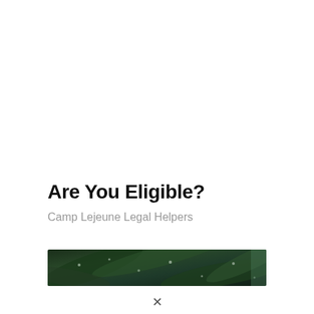Are You Eligible?
Camp Lejeune Legal Helpers
[Figure (photo): Close-up photograph of green leaves with water droplets, dark background, used as decorative image strip]
∨